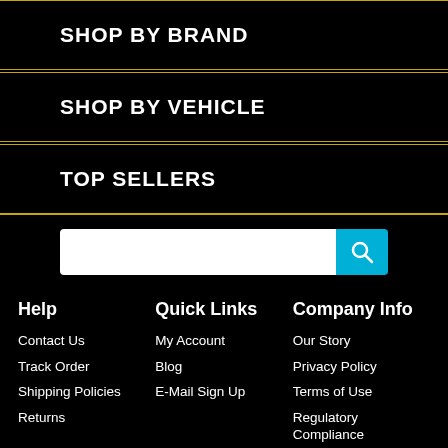SHOP BY BRAND
SHOP BY VEHICLE
TOP SELLERS
[Figure (other): Search input box with cyan search button icon]
Help
Quick Links
Company Info
Contact Us
Track Order
Shipping Policies
Returns
My Account
Blog
E-Mail Sign Up
Our Story
Privacy Policy
Terms of Use
Regulatory Compliance
Employment Opportunities